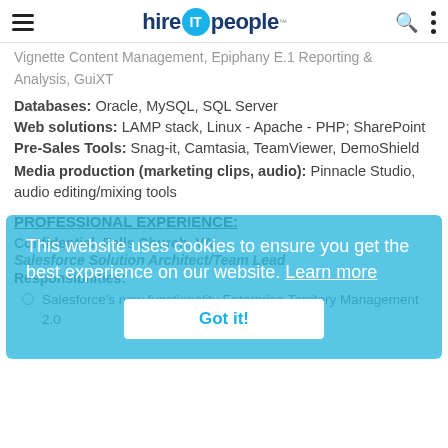hire IT people — We get IT done!
Vignette Content Management, Epiphany E.1 Reporting & Analysis, GuiXT
Databases: Oracle, MySQL, SQL Server
Web solutions: LAMP stack, Linux - Apache - PHP; SharePoint
Pre-Sales Tools: Snag-it, Camtasia, TeamViewer, DemoShield
Media production (marketing clips, audio): Pinnacle Studio, audio editing/mixing tools
PROFESSIONAL EXPERIENCE:
Confidential, Falls Church, VA
Salesforce Solution Architect/Team Lead
Responsibilities:
Salesforce's new functionality Enterprise Territory Management 2.0